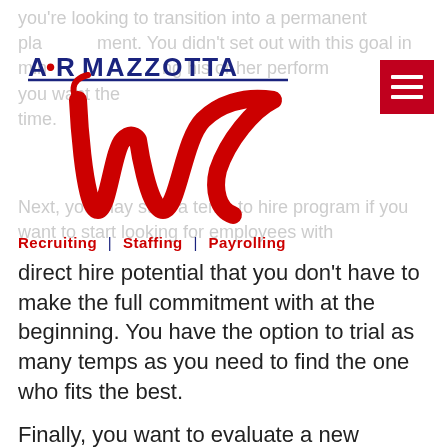you're looking to transition into a permanent placement. You didn't set out with this goal in mind, evaluating his or her performance to realize you want the full time.
[Figure (logo): A.R. Mazzotta logo with stylized red M script and navy blue text, with tagline: Recruiting | Staffing | Payrolling]
Next, you may start a temp to hire program if you want to start looking for employees with direct hire potential that you don't have to make the full commitment with at the beginning. You have the option to trial as many temps as you need to find the one who fits the best.
Finally, you want to evaluate a new employee on a temp basis before extending the direct hire offer. This is similar to the